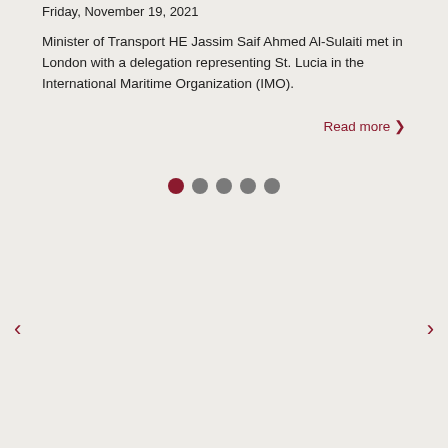Friday, November 19, 2021
Minister of Transport HE Jassim Saif Ahmed Al-Sulaiti met in London with a delegation representing St. Lucia in the International Maritime Organization (IMO).
Read more ❯
[Figure (other): Carousel pagination dots: one active (dark red) and four inactive (gray)]
‹
›